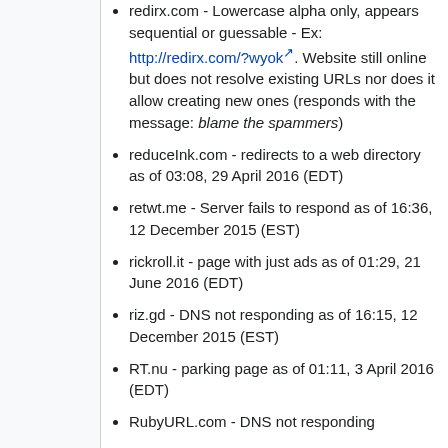redirx.com - Lowercase alpha only, appears sequential or guessable - Ex: http://redirx.com/?wyok. Website still online but does not resolve existing URLs nor does it allow creating new ones (responds with the message: blame the spammers)
reduceInk.com - redirects to a web directory as of 03:08, 29 April 2016 (EDT)
retwt.me - Server fails to respond as of 16:36, 12 December 2015 (EST)
rickroll.it - page with just ads as of 01:29, 21 June 2016 (EDT)
riz.gd - DNS not responding as of 16:15, 12 December 2015 (EST)
RT.nu - parking page as of 01:11, 3 April 2016 (EDT)
RubyURL.com - DNS not responding